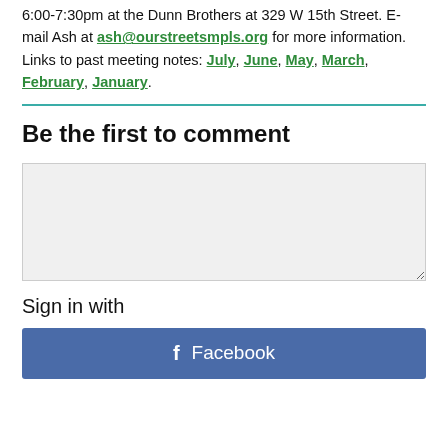6:00-7:30pm at the Dunn Brothers at 329 W 15th Street. E-mail Ash at ash@ourstreetsmpls.org for more information.
Links to past meeting notes: July, June, May, March, February, January.
Be the first to comment
[Figure (screenshot): Empty comment text area input box with light gray background]
Sign in with
[Figure (screenshot): Facebook sign-in button with blue background and Facebook logo]